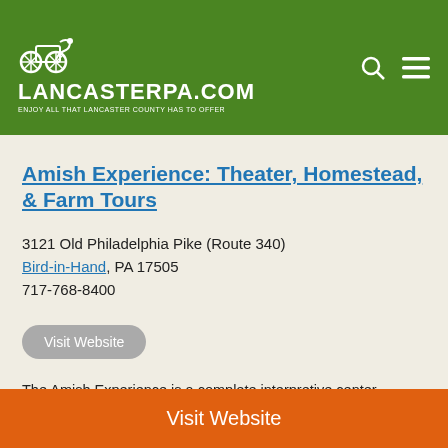LancasterPA.com — Enjoy all that Lancaster County has to offer
Amish Experience: Theater, Homestead, & Farm Tours
3121 Old Philadelphia Pike (Route 340)
Bird-in-Hand, PA 17505
717-768-8400
Visit Website
The Amish Experience is a complete interpretive center focusing on Amish culture and heritage.  Completely surrounded by Amish farmland along Route 340, the experience offers "Jacob's Choice" in the Amish Experience multi-media Theater, guided walking tours of an Amish House & School, and guided bus tours of the Amish farmland.
Visit Website